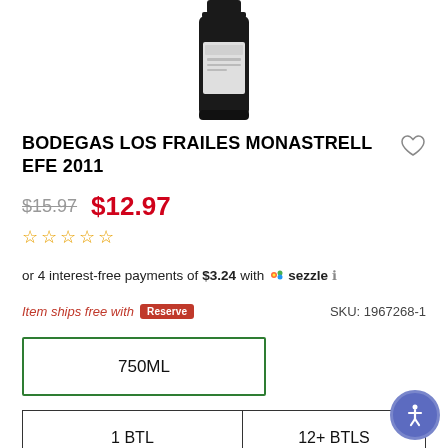[Figure (photo): Product photo of a dark wine bottle (Bodegas Los Frailes Monastrell EFE 2011) against a white background, partially cropped at top]
BODEGAS LOS FRAILES MONASTRELL EFE 2011
$15.97  $12.97
☆☆☆☆☆
or 4 interest-free payments of $3.24 with Sezzle ℹ
Item ships free with Reserve
SKU: 1967268-1
750ML
1 BTL
12+ BTLS